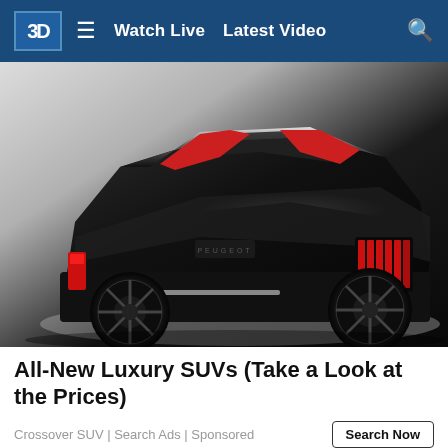3D | ≡ Watch Live  Latest Video  🔍
[Figure (photo): Rear three-quarter view of a black Peugeot concept SUV/crossover on a white background, showing red taillights and stylized alloy wheels]
All-New Luxury SUVs (Take a Look at the Prices)
Crossover SUV | Search Ads | Sponsored
Search Now
⊗